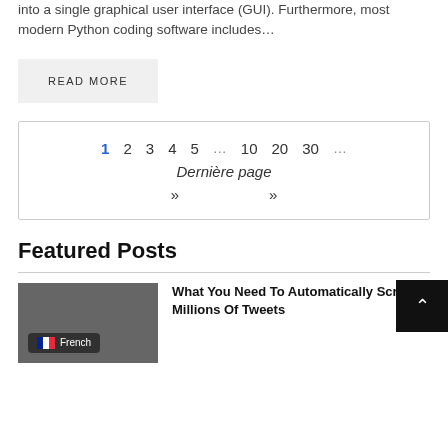into a single graphical user interface (GUI). Furthermore, most modern Python coding software includes…
READ MORE
1 2 3 4 5 … 10 20 30 … Dernière page » »
Featured Posts
What You Need To Automatically Scrape Millions Of Tweets